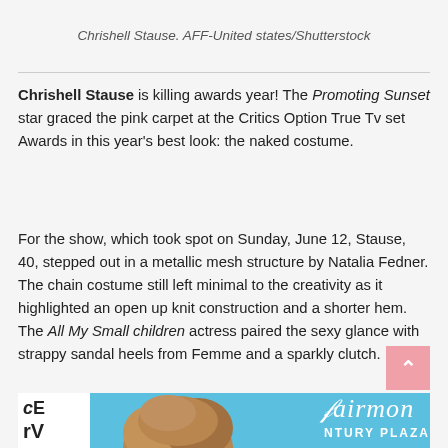Chrishell Stause. AFF-United states/Shutterstock
Chrishell Stause is killing awards year! The Promoting Sunset star graced the pink carpet at the Critics Option True Tv set Awards in this year's best look: the naked costume.
For the show, which took spot on Sunday, June 12, Stause, 40, stepped out in a metallic mesh structure by Natalia Fedner. The chain costume still left minimal to the creativity as it highlighted an open up knit construction and a shorter hem. The All My Small children actress paired the sexy glance with strappy sandal heels from Femme and a sparkly clutch.
[Figure (photo): Photo of a person at an event with CE TV logo and Fairmont Century Plaza signage in the background]